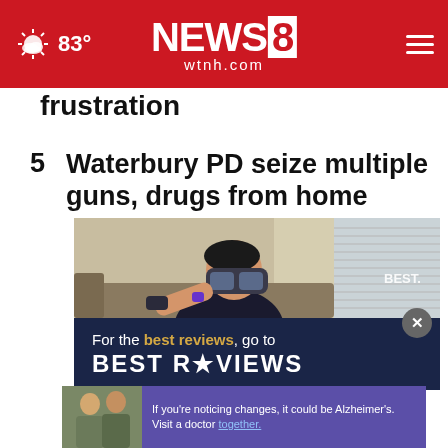83° NEWS 8 wtnh.com
frustration
5  Waterbury PD seize multiple guns, drugs from home
[Figure (photo): Advertisement: Man wearing VR headset sitting on couch, with text 'For the best reviews, go to BEST REVIEWS' on dark blue background]
[Figure (photo): Advertisement: Two people with text 'If you're noticing changes, it could be Alzheimer's. Visit a doctor together.']